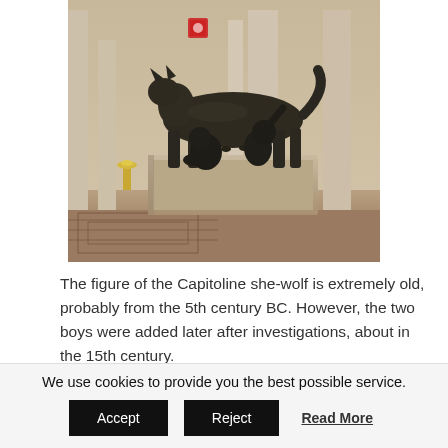[Figure (photo): Photo of the Capitoline She-Wolf bronze sculpture with two boys beneath a she-wolf, displayed on a stone pedestal inside a museum with classical stone columns visible in the background.]
The figure of the Capitoline she-wolf is extremely old, probably from the 5th century BC. However, the two boys were added later after investigations, about in the 15th century.
Boy with Thorn (Italian
We use cookies to provide you the best possible service.